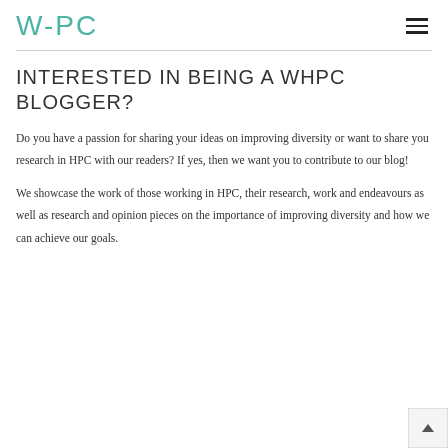WHPC
INTERESTED IN BEING A WHPC BLOGGER?
Do you have a passion for sharing your ideas on improving diversity or want to share you research in HPC with our readers? If yes, then we want you to contribute to our blog!
We showcase the work of those working in HPC, their research, work and endeavours as well as research and opinion pieces on the importance of improving diversity and how we can achieve our goals.